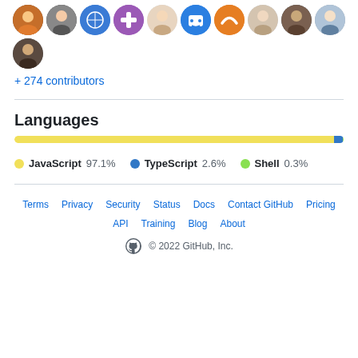[Figure (illustration): Row of contributor avatar circles: colorful user profile photos and icons]
+ 274 contributors
Languages
[Figure (bar-chart): Languages bar]
Terms  Privacy  Security  Status  Docs  Contact GitHub  Pricing  API  Training  Blog  About  © 2022 GitHub, Inc.